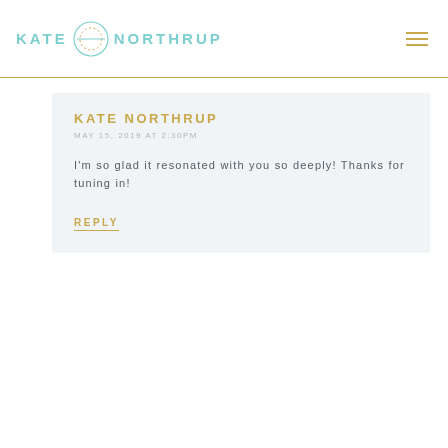KATE NORTHRUP
KATE NORTHRUP
May 15, 2019 AT 2:30PM
I'm so glad it resonated with you so deeply! Thanks for tuning in!
REPLY